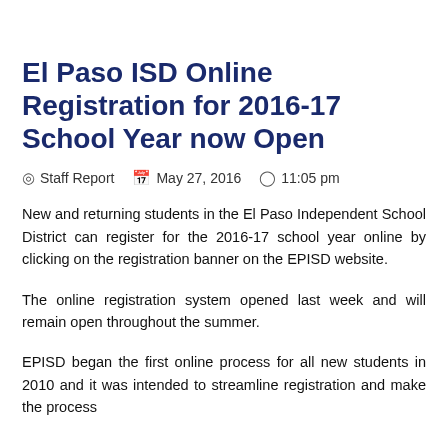El Paso ISD Online Registration for 2016-17 School Year now Open
⊙ Staff Report  🗓 May 27, 2016  ⊙ 11:05 pm
New and returning students in the El Paso Independent School District can register for the 2016-17 school year online by clicking on the registration banner on the EPISD website.
The online registration system opened last week and will remain open throughout the summer.
EPISD began the first online process for all new students in 2010 and it was intended to streamline registration and make the process